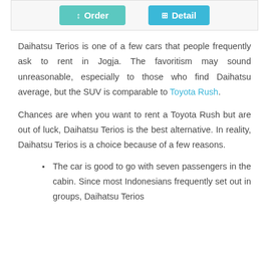[Figure (screenshot): Two buttons: a teal 'Order' button and a blue 'Detail' button inside a light grey panel]
Daihatsu Terios is one of a few cars that people frequently ask to rent in Jogja. The favoritism may sound unreasonable, especially to those who find Daihatsu average, but the SUV is comparable to Toyota Rush.
Chances are when you want to rent a Toyota Rush but are out of luck, Daihatsu Terios is the best alternative. In reality, Daihatsu Terios is a choice because of a few reasons.
The car is good to go with seven passengers in the cabin. Since most Indonesians frequently set out in groups, Daihatsu Terios